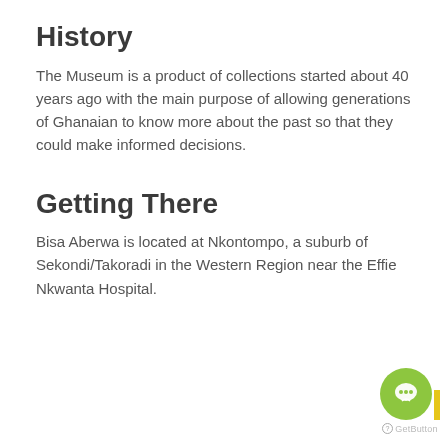History
The Museum is a product of collections started about 40 years ago with the main purpose of allowing generations of Ghanaian to know more about the past so that they could make informed decisions.
Getting There
Bisa Aberwa is located at Nkontompo, a suburb of Sekondi/Takoradi in the Western Region near the Effie Nkwanta Hospital.
[Figure (logo): GetButton chat widget with green circular icon featuring speech bubble, yellow bar, and GetButton label]